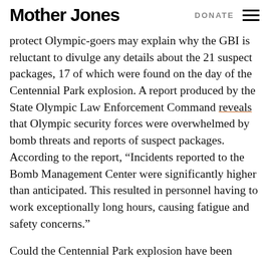Mother Jones   DONATE
protect Olympic-goers may explain why the GBI is reluctant to divulge any details about the 21 suspect packages, 17 of which were found on the day of the Centennial Park explosion. A report produced by the State Olympic Law Enforcement Command reveals that Olympic security forces were overwhelmed by bomb threats and reports of suspect packages. According to the report, “Incidents reported to the Bomb Management Center were significantly higher than anticipated. This resulted in personnel having to work exceptionally long hours, causing fatigue and safety concerns.”
Could the Centennial Park explosion have been